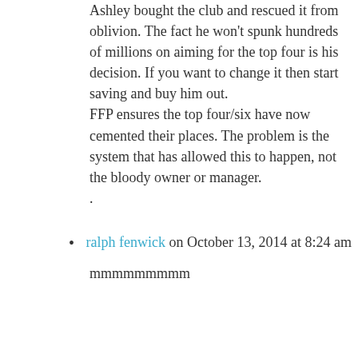Ashley bought the club and rescued it from oblivion. The fact he won't spunk hundreds of millions on aiming for the top four is his decision. If you want to change it then start saving and buy him out.
FFP ensures the top four/six have now cemented their places. The problem is the system that has allowed this to happen, not the bloody owner or manager.
.
ralph fenwick on October 13, 2014 at 8:24 am
mmmmmmmmm